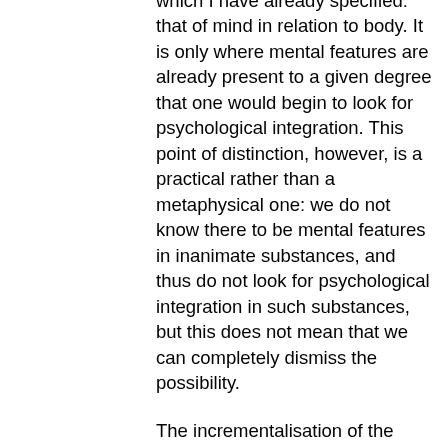another spectrum of judgement which I have already specified: that of mind in relation to body. It is only where mental features are already present to a given degree that one would begin to look for psychological integration. This point of distinction, however, is a practical rather than a metaphysical one: we do not know there to be mental features in inanimate substances, and thus do not look for psychological integration in such substances, but this does not mean that we can completely dismiss the possibility.
The incrementalisation of the dualism of freewill and determinism has immense implications for ethics, because it removes the traditional assumption in Western philosophy that discontinuous freewill is a necessary condition for ethics. The concerns that led to that belief can still be recognised in an incremental scheme of the degree of conditionality: for it does appear that we can be relatively free of psychological conditioning and that this freedom, indeed, is the basis of ethics. But this idea of